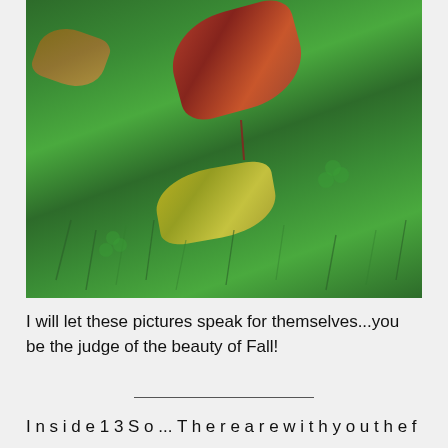[Figure (photo): Close-up photograph of autumn/fall leaves (red-brown, tan, and yellow-green) lying on green grass and clover]
I will let these pictures speak for themselves...you be the judge of the beauty of Fall!
———————————————
Inside13 So... There are with you the flow of about th...